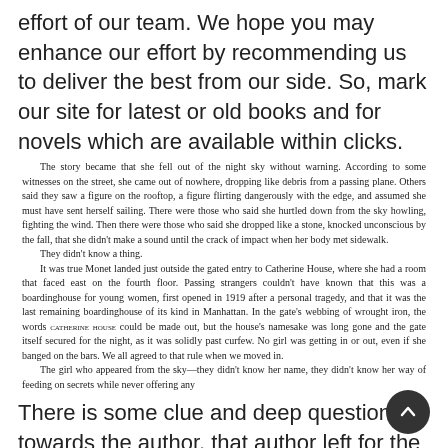effort of our team. We hope you may enhance our effort by recommending us to deliver the best from our side. So, mark our site for latest or old books and for novels which are available within clicks.
The story became that she fell out of the night sky without warning. According to some witnesses on the street, she came out of nowhere, dropping like debris from a passing plane. Others said they saw a figure on the rooftop, a figure flirting dangerously with the edge, and assumed she must have sent herself sailing. There were those who said she hurtled down from the sky howling, fighting the wind. Then there were those who said she dropped like a stone, knocked unconscious by the fall, that she didn't make a sound until the crack of impact when her body met sidewalk.
	They didn't know a thing.
	It was true Monet landed just outside the gated entry to Catherine House, where she had a room that faced east on the fourth floor. Passing strangers couldn't have known that this was a boardinghouse for young women, first opened in 1919 after a personal tragedy, and that it was the last remaining boardinghouse of its kind in Manhattan. In the gate's webbing of wrought iron, the words CATHERINE HOUSE could be made out, but the house's namesake was long gone and the gate itself secured for the night, as it was solidly past curfew. No girl was getting in or out, even if she banged on the bars. We all agreed to that rule when we moved in.
	The girl who appeared from the sky—they didn't know her name, they didn't know her way of feeding on secrets while never offering any
There is some clue and deep question towards the author, that author left for the reader. After finishing this novel you must put your point of view